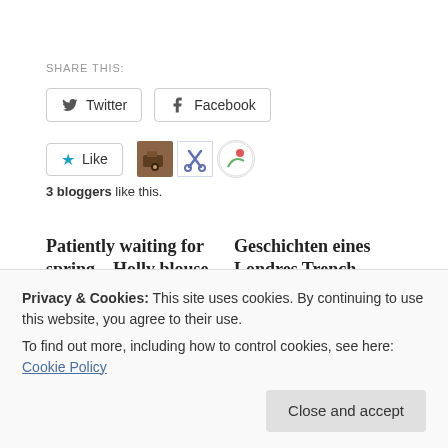Share this:
Twitter  Facebook
Like  [blogger avatars]  3 bloggers like this.
Patiently waiting for spring – Holly blouse, Tulip skirt and Luzerne coat
April 4, 2017
Geschichten eines Londres Trench Coats – Tales of a Londres Trench Coat
October 2, 2017
Privacy & Cookies: This site uses cookies. By continuing to use this website, you agree to their use.
To find out more, including how to control cookies, see here: Cookie Policy